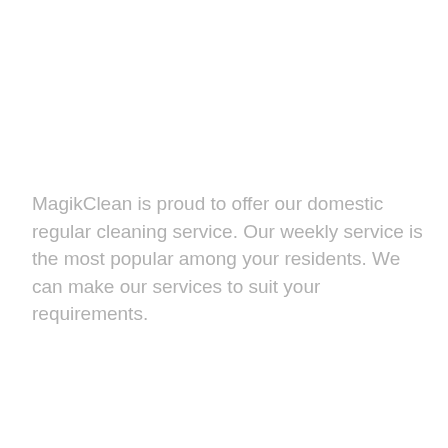MagikClean is proud to offer our domestic regular cleaning service. Our weekly service is the most popular among your residents. We can make our services to suit your requirements.